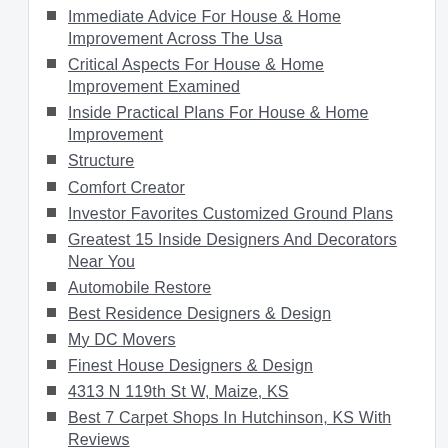Immediate Advice For House & Home Improvement Across The Usa
Critical Aspects For House & Home Improvement Examined
Inside Practical Plans For House & Home Improvement
Structure
Comfort Creator
Investor Favorites Customized Ground Plans
Greatest 15 Inside Designers And Decorators Near You
Automobile Restore
Best Residence Designers & Design
My DC Movers
Finest House Designers & Design
4313 N 119th St W, Maize, KS
Best 7 Carpet Shops In Hutchinson, KS With Reviews
Pavers, Rocks & Stepping Stones